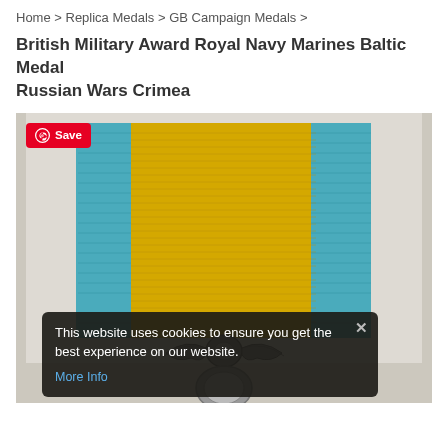Home > Replica Medals > GB Campaign Medals >
British Military Award Royal Navy Marines Baltic Medal Russian Wars Crimea
[Figure (photo): Close-up photograph of a British Military Baltic Medal replica, showing the yellow and blue striped ribbon folded flat, with a decorative silver metal clasp/suspension piece visible at the bottom. A Pinterest Save button appears in the top-left corner. A cookie consent overlay appears over the lower portion of the image.]